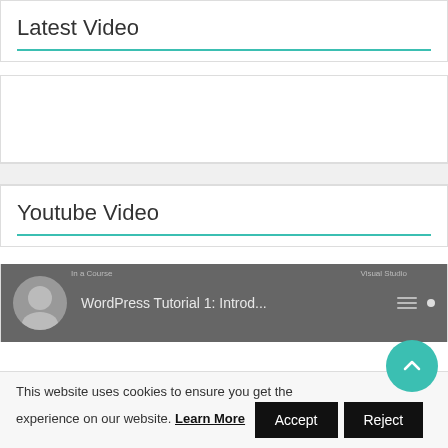Latest Video
[Figure (screenshot): Empty widget area below Latest Video section header]
[Figure (screenshot): Empty gray gap block between sections]
Youtube Video
[Figure (screenshot): YouTube video thumbnail showing a bearded man and title 'WordPress Tutorial 1: Introd...' with playlist/menu icons on dark background]
This website uses cookies to ensure you get the experience on our website. Learn More
Accept
Reject